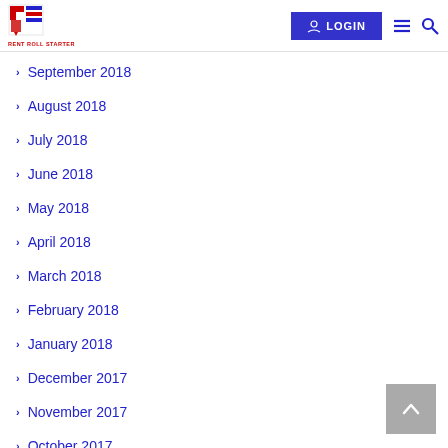RENT ROLL STARTER — navigation bar with LOGIN button
September 2018
August 2018
July 2018
June 2018
May 2018
April 2018
March 2018
February 2018
January 2018
December 2017
November 2017
October 2017
September 2017
August 2017